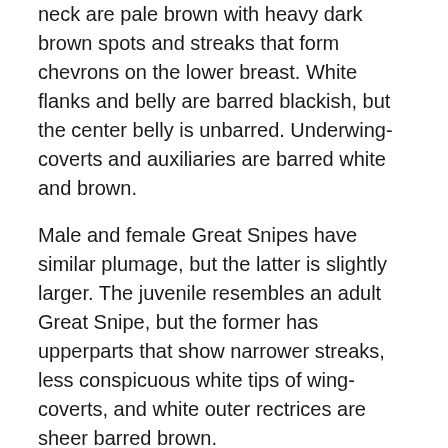neck are pale brown with heavy dark brown spots and streaks that form chevrons on the lower breast. White flanks and belly are barred blackish, but the center belly is unbarred. Underwing-coverts and auxiliaries are barred white and brown.
Male and female Great Snipes have similar plumage, but the latter is slightly larger. The juvenile resembles an adult Great Snipe, but the former has upperparts that show narrower streaks, less conspicuous white tips of wing-coverts, and white outer rectrices are sheer barred brown.
The distribution and habitat of Great Snipes
The Great Snipes inhibit different continents and regions worldwide, including northeastern Europe